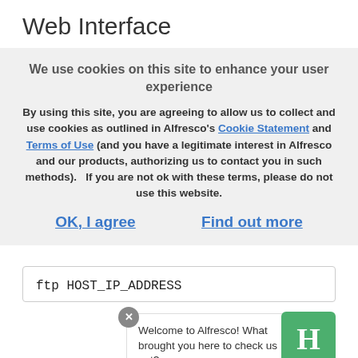Web Interface
We use cookies on this site to enhance your user experience
By using this site, you are agreeing to allow us to collect and use cookies as outlined in Alfresco’s Cookie Statement and Terms of Use (and you have a legitimate interest in Alfresco and our products, authorizing us to contact you in such methods).   If you are not ok with these terms, please do not use this website.
OK, I agree    Find out more
ftp HOST_IP_ADDRESS
Welcome to Alfresco! What brought you here to check us out?
WebDAV access